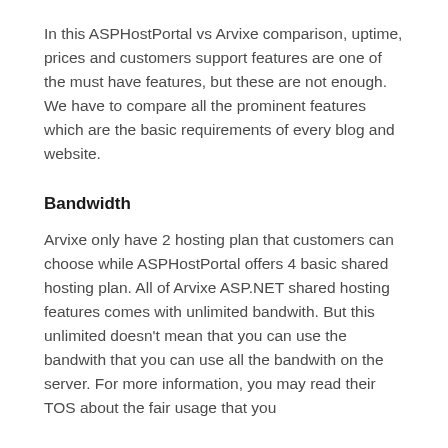In this ASPHostPortal vs Arvixe comparison, uptime, prices and customers support features are one of the must have features, but these are not enough. We have to compare all the prominent features which are the basic requirements of every blog and website.
Bandwidth
Arvixe only have 2 hosting plan that customers can choose while ASPHostPortal offers 4 basic shared hosting plan. All of Arvixe ASP.NET shared hosting features comes with unlimited bandwith. But this unlimited doesn't mean that you can use the bandwith that you can use all the bandwith on the server. For more information, you may read their TOS about the fair usage that you